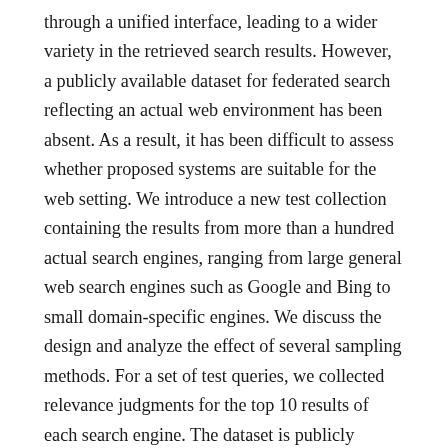through a unified interface, leading to a wider variety in the retrieved search results. However, a publicly available dataset for federated search reflecting an actual web environment has been absent. As a result, it has been difficult to assess whether proposed systems are suitable for the web setting. We introduce a new test collection containing the results from more than a hundred actual search engines, ranging from large general web search engines such as Google and Bing to small domain-specific engines. We discuss the design and analyze the effect of several sampling methods. For a set of test queries, we collected relevance judgments for the top 10 results of each search engine. The dataset is publicly available and is useful for researchers interested in resource selection for web search collections, result merging and size estimation of uncooperative resources.